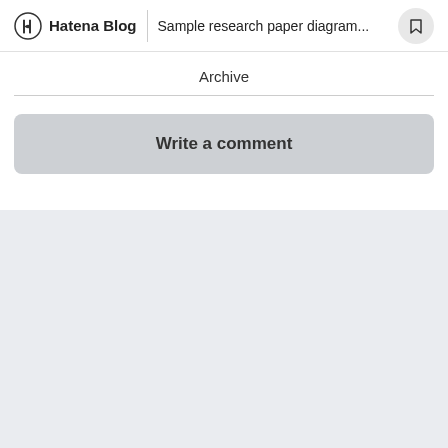Hatena Blog | Sample research paper diagram...
Archive
Write a comment